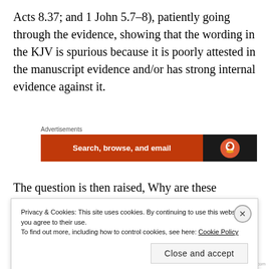Acts 8.37; and 1 John 5.7–8), patiently going through the evidence, showing that the wording in the KJV is spurious because it is poorly attested in the manuscript evidence and/or has strong internal evidence against it.
[Figure (other): Advertisement banner: orange section with white bold text 'Search, browse, and email', dark section with DuckDuckGo-style duck icon]
The question is then raised, Why are these passages (including the two 12-verse texts mentioned earlier,
Privacy & Cookies: This site uses cookies. By continuing to use this website, you agree to their use.
To find out more, including how to control cookies, see here: Cookie Policy
[Close and accept]